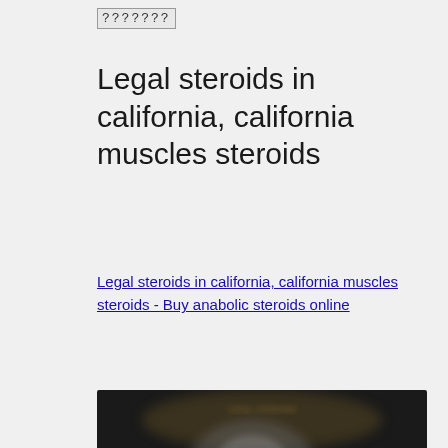???????
Legal steroids in california, california muscles steroids
Legal steroids in california, california muscles steroids - Buy anabolic steroids online
[Figure (photo): Blurred dark image showing bodybuilding supplement products at the bottom]